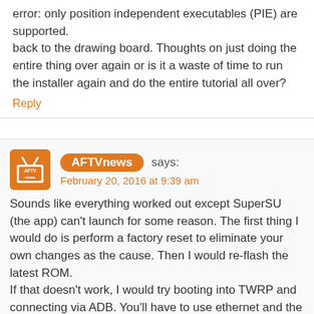error: only position independent executables (PIE) are supported.
back to the drawing board. Thoughts on just doing the entire thing over again or is it a waste of time to run the installer again and do the entire tutorial all over?
Reply
AFTVnews says:
February 20, 2016 at 9:39 am
Sounds like everything worked out except SuperSU (the app) can't launch for some reason. The first thing I would do is perform a factory reset to eliminate your own changes as the cause. Then I would re-flash the latest ROM.
If that doesn't work, I would try booting into TWRP and connecting via ADB. You'll have to use ethernet and the IP on the TWRP main menu. With ADB connected in TWRP, you should be able to enter "adb shell" and then "su" without having to deal with SuperSU. From there you'll have root